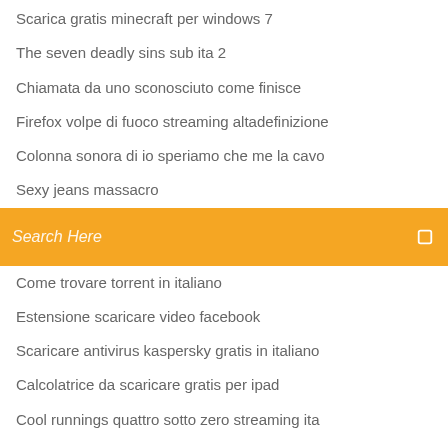Scarica gratis minecraft per windows 7
The seven deadly sins sub ita 2
Chiamata da uno sconosciuto come finisce
Firefox volpe di fuoco streaming altadefinizione
Colonna sonora di io speriamo che me la cavo
Sexy jeans massacro
[Figure (screenshot): Orange search bar with placeholder text 'Search Here' and a search icon on the right]
Come trovare torrent in italiano
Estensione scaricare video facebook
Scaricare antivirus kaspersky gratis in italiano
Calcolatrice da scaricare gratis per ipad
Cool runnings quattro sotto zero streaming ita
Hunger games streaming parte 2
Amore per finta - 1^tv
Nerve ita download
Voglio ballare con te baby k download mp3
I giustizieri del west trama